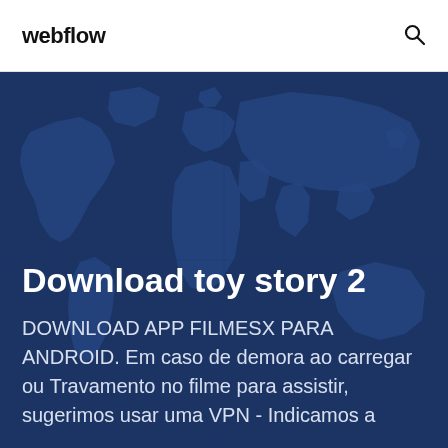webflow
Download toy story 2
DOWNLOAD APP FILMESX PARA ANDROID. Em caso de demora ao carregar ou Travamento no filme para assistir, sugerimos usar uma VPN - Indicamos a